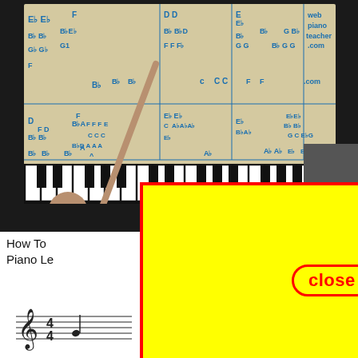[Figure (screenshot): A piano lesson video thumbnail showing a man pointing at a whiteboard with music chord/scale notes written in blue marker (Eb, Bb, F, D, C, A, G etc.) above a piano keyboard. The video is from webpianoteacher.com.]
close
How To ... n Cheek
Piano Le... sson
ds and Music by BOB DYLAN
[Figure (screenshot): Sheet music snippet at bottom left with treble clef and time signature.]
[Figure (screenshot): Sheet music snippet at bottom right with measure number 2.]